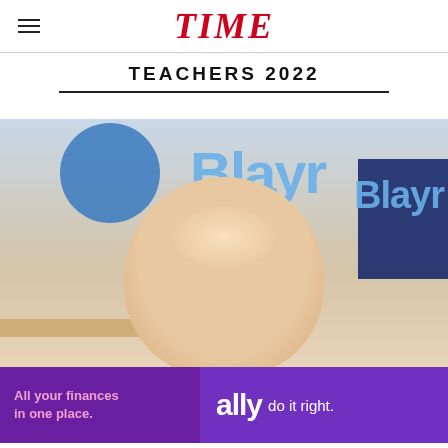TIME
TEACHERS 2022
[Figure (photo): A bald man photographed from above in a classroom setting, with blue and navy sports/school signage visible in the background including partial text 'Blayr'. A wooden shelf is visible in the lower left background.]
[Figure (infographic): Ally Financial advertisement banner: 'All your finances in one place.' with 'ally do it right.' branding on purple background.]